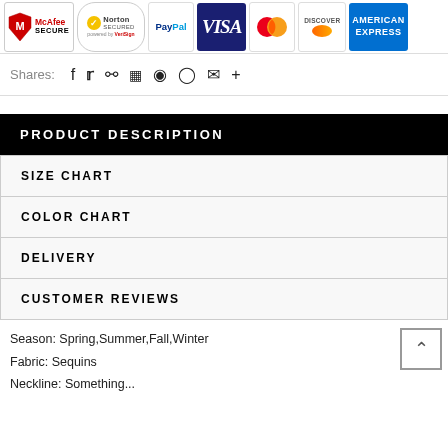[Figure (other): Security and payment badges: McAfee SECURE, Norton SECURED powered by VeriSign, PayPal, VISA, Mastercard, DISCOVER, AMERICAN EXPRESS]
Shares:
PRODUCT DESCRIPTION
SIZE CHART
COLOR CHART
DELIVERY
CUSTOMER REVIEWS
Season: Spring,Summer,Fall,Winter
Fabric: Sequins
Neckline: Something...